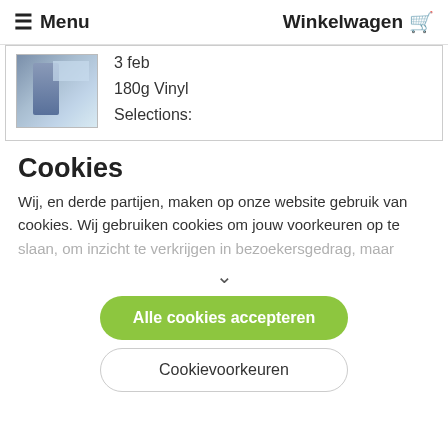Menu  Winkelwagen
3 feb
180g Vinyl
Selections:
Cookies
Wij, en derde partijen, maken op onze website gebruik van cookies. Wij gebruiken cookies om jouw voorkeuren op te slaan, om inzicht te verkrijgen in bezoekersgedrag, maar
Alle cookies accepteren
Cookievoorkeuren